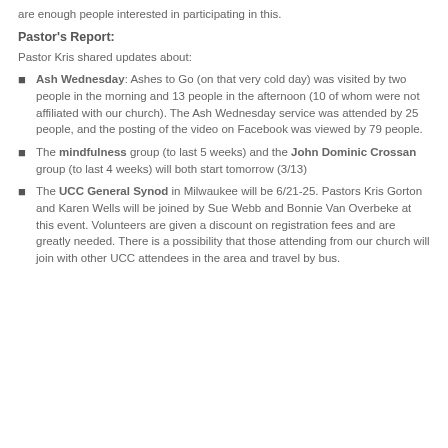are enough people interested in participating in this.
Pastor's Report:
Pastor Kris shared updates about:
Ash Wednesday: Ashes to Go (on that very cold day) was visited by two people in the morning and 13 people in the afternoon (10 of whom were not affiliated with our church). The Ash Wednesday service was attended by 25 people, and the posting of the video on Facebook was viewed by 79 people.
The mindfulness group (to last 5 weeks) and the John Dominic Crossan group (to last 4 weeks) will both start tomorrow (3/13)
The UCC General Synod in Milwaukee will be 6/21-25. Pastors Kris Gorton and Karen Wells will be joined by Sue Webb and Bonnie Van Overbeke at this event. Volunteers are given a discount on registration fees and are greatly needed. There is a possibility that those attending from our church will join with other UCC attendees in the area and travel by bus.